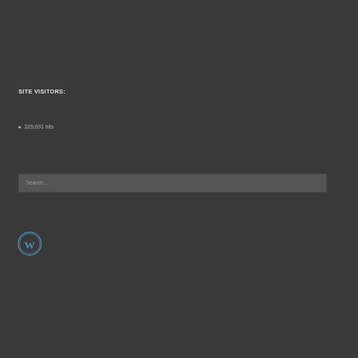SITE VISITORS:
329,691 hits
Search ...
[Figure (logo): WordPress logo — circular blue and white W icon]